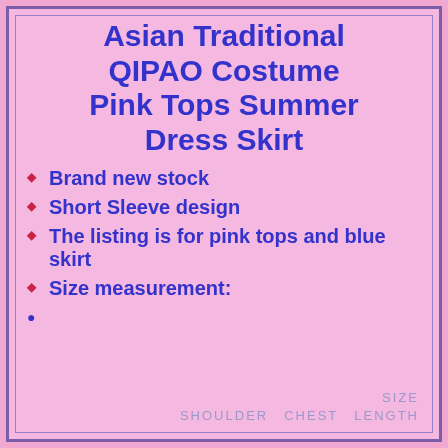Asian Traditional QIPAO Costume Pink Tops Summer Dress Skirt
Brand new stock
Short Sleeve design
The listing is for pink tops and blue skirt
Size measurement:
| SIZE | SHOULDER | CHEST | LENGTH |
| --- | --- | --- | --- |